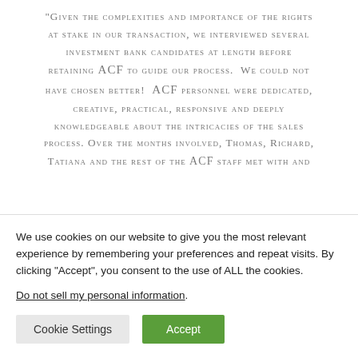"Given the complexities and importance of the rights at stake in our transaction, we interviewed several investment bank candidates at length before retaining ACF to guide our process. We could not have chosen better! ACF personnel were dedicated, creative, practical, responsive and deeply knowledgeable about the intricacies of the sales process. Over the months involved, Thomas, Richard, Tatiana and the rest of the ACF staff met with and
We use cookies on our website to give you the most relevant experience by remembering your preferences and repeat visits. By clicking “Accept”, you consent to the use of ALL the cookies.
Do not sell my personal information.